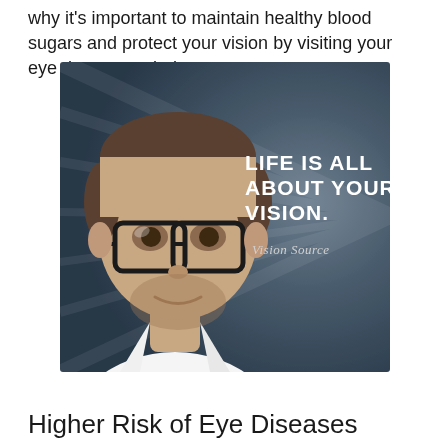why it's important to maintain healthy blood sugars and protect your vision by visiting your eye doctor regularly.
[Figure (photo): Advertisement image showing a man wearing black-framed glasses in front of a dark gray background with ray lines. Text overlay reads 'LIFE IS ALL ABOUT YOUR VISION.' with 'Vision Source' script logo below.]
Higher Risk of Eye Diseases